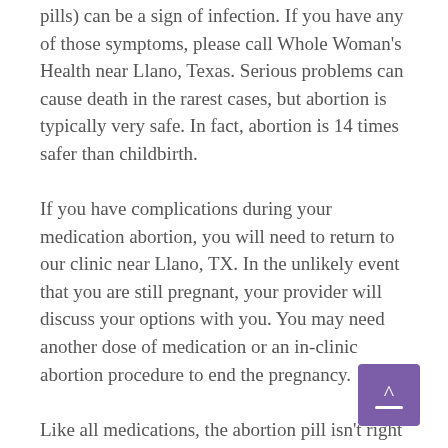pills) can be a sign of infection. If you have any of those symptoms, please call Whole Woman's Health near Llano, Texas. Serious problems can cause death in the rarest cases, but abortion is typically very safe. In fact, abortion is 14 times safer than childbirth.
If you have complications during your medication abortion, you will need to return to our clinic near Llano, TX. In the unlikely event that you are still pregnant, your provider will discuss your options with you. You may need another dose of medication or an in-clinic abortion procedure to end the pregnancy.
Like all medications, the abortion pill isn't right for everyone. If you have certain medical conditions or take certain medications, the abortion pill may not be right for you. Our providers serving Llano, Texas